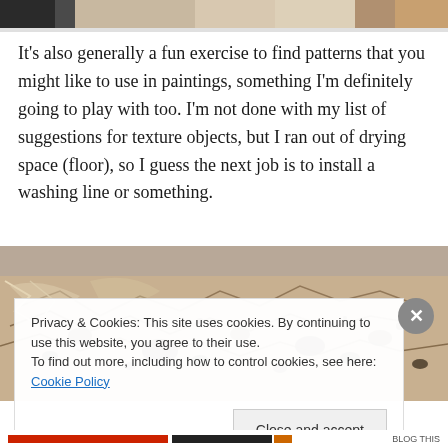[Figure (photo): Top cropped photo showing interior scene with dark left edge and warm beige/wood tones]
It's also generally a fun exercise to find patterns that you might like to use in paintings, something I'm definitely going to play with too. I'm not done with my list of suggestions for texture objects, but I ran out of drying space (floor), so I guess the next job is to install a washing line or something.
[Figure (photo): Close-up photo of a cracked, textured surface with dark spots and organic patterns on a beige/tan background]
Privacy & Cookies: This site uses cookies. By continuing to use this website, you agree to their use.
To find out more, including how to control cookies, see here: Cookie Policy
Close and accept
BLOG THIS